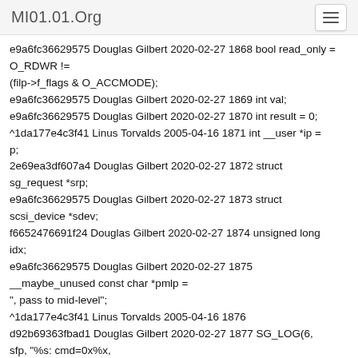MI01.01.Org
e9a6fc36629575 Douglas Gilbert 2020-02-27 1868 bool read_only = O_RDWR != (filp->f_flags & O_ACCMODE);
e9a6fc36629575 Douglas Gilbert 2020-02-27 1869 int val;
e9a6fc36629575 Douglas Gilbert 2020-02-27 1870 int result = 0;
^1da177e4c3f41 Linus Torvalds 2005-04-16 1871 int __user *ip = p;
2e69ea3df607a4 Douglas Gilbert 2020-02-27 1872 struct sg_request *srp;
e9a6fc36629575 Douglas Gilbert 2020-02-27 1873 struct scsi_device *sdev;
f6652476691f24 Douglas Gilbert 2020-02-27 1874 unsigned long idx;
e9a6fc36629575 Douglas Gilbert 2020-02-27 1875 __maybe_unused const char *pmlp = ", pass to mid-level";
^1da177e4c3f41 Linus Torvalds 2005-04-16 1876
d92b69363fbad1 Douglas Gilbert 2020-02-27 1877 SG_LOG(6, sfp, "%s: cmd=0x%x,
O_NONBLOCK=%d\n", __func__, cmd, in